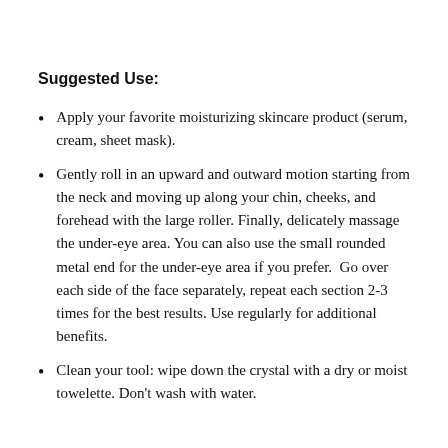Suggested Use:
Apply your favorite moisturizing skincare product (serum, cream, sheet mask).
Gently roll in an upward and outward motion starting from the neck and moving up along your chin, cheeks, and forehead with the large roller. Finally, delicately massage the under-eye area. You can also use the small rounded metal end for the under-eye area if you prefer.  Go over each side of the face separately, repeat each section 2-3 times for the best results. Use regularly for additional benefits.
Clean your tool: wipe down the crystal with a dry or moist towelette. Don't wash with water.